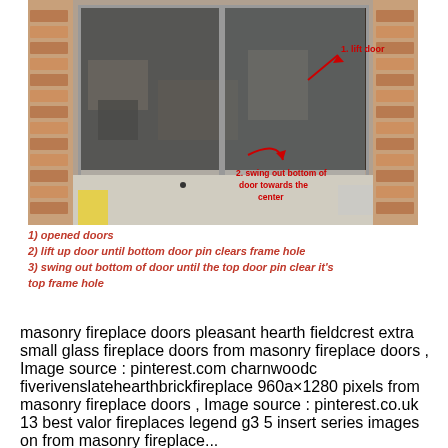[Figure (photo): Photograph of an open masonry fireplace with glass doors. Annotated with red arrows and text: '1. lift door' in upper right, and '2. swing out bottom of door towards the center' with a red curved arrow at the bottom center of the doors.]
1) opened doors
2) lift up door until bottom door pin clears frame hole
3) swing out bottom of door until the top door pin clear it's top frame hole
masonry fireplace doors pleasant hearth fieldcrest extra small glass fireplace doors from masonry fireplace doors , Image source : pinterest.com charnwoodc fiverivenslatehearthbrickfireplace 960a×1280 pixels from masonry fireplace doors , Image source : pinterest.co.uk 13 best valor fireplaces legend g3 5 insert series images on from masonry fireplace...